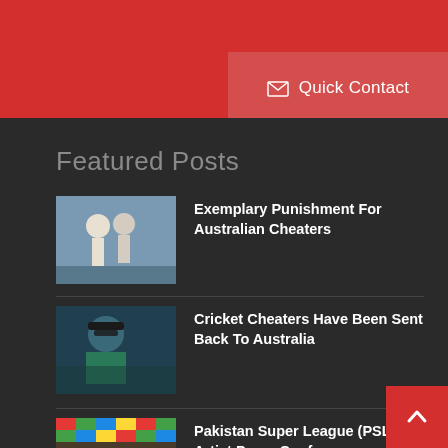Quick Contact
Featured Posts
Exemplary Punishment For Australian Cheaters
Cricket Cheaters Have Been Sent Back To Australia
Pakistan Super League (PSL) Artist Press Conference
India Vs Australia: ICC's New Rules A